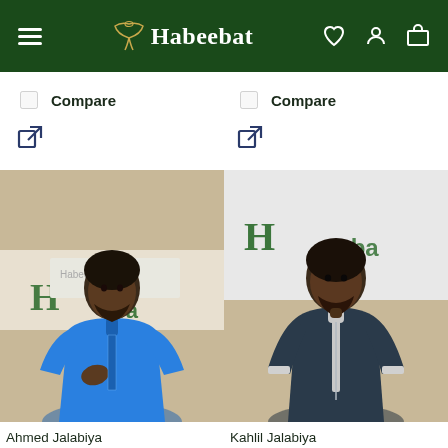Habeebat — navigation bar
Compare (left)
Compare (right)
External link icon (left)
External link icon (right)
[Figure (photo): Man wearing blue jalabiya standing in front of Habeebat branded backdrop]
[Figure (photo): Man wearing dark navy jalabiya standing in front of Habeebat branded backdrop]
Ahmed Jalabiya
Kahlil Jalabiya